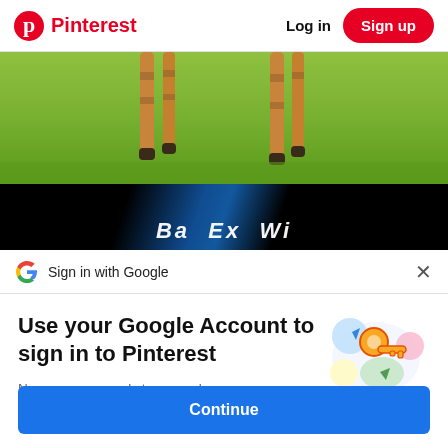Pinterest  Log in  Sign up
[Figure (photo): Giraffe legs standing on green grass, with a dark background below showing partial italic text, and a blue diagonal stripe overlay]
Sign in with Google  ×
Use your Google Account to sign in to Pinterest
No more passwords to remember. Signing in is fast, simple and secure.
[Figure (illustration): Google key illustration with colorful circular icons representing Google sign-in security]
Continue